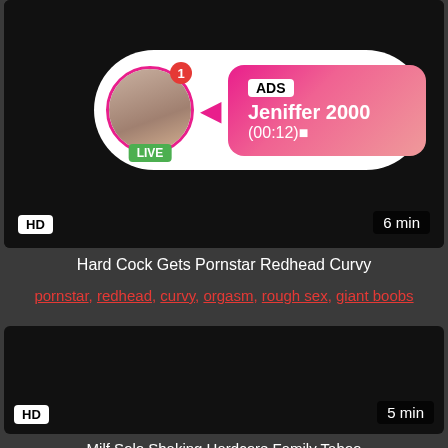[Figure (screenshot): Advertisement banner with avatar, LIVE badge, notification badge, and pink bubble showing ADS, Jeniffer 2000, (00:12), HD badge, 6 min duration]
Hard Cock Gets Pornstar Redhead Curvy
pornstar, redhead, curvy, orgasm, rough sex, giant boobs
[Figure (screenshot): Dark video thumbnail with HD badge and 5 min duration]
Milf Solo Shaking Hardcore Family Taboo